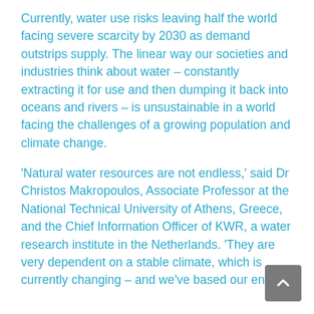Currently, water use risks leaving half the world facing severe scarcity by 2030 as demand outstrips supply. The linear way our societies and industries think about water – constantly extracting it for use and then dumping it back into oceans and rivers – is unsustainable in a world facing the challenges of a growing population and climate change.
'Natural water resources are not endless,' said Dr Christos Makropoulos, Associate Professor at the National Technical University of Athens, Greece, and the Chief Information Officer of KWR, a water research institute in the Netherlands. 'They are very dependent on a stable climate, which is currently changing – and we've based our entire